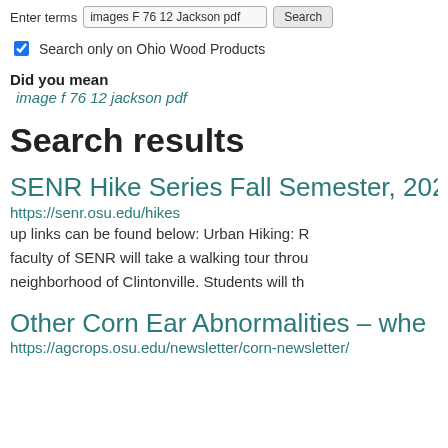Enter terms  images F 76 12 Jackson pdf  Search
Search only on Ohio Wood Products
Did you mean
image f 76 12 jackson pdf
Search results
SENR Hike Series Fall Semester, 202...
https://senr.osu.edu/hikes
up links can be found below: Urban Hiking: R faculty of SENR will take a walking tour throu neighborhood of Clintonville. Students will th
Other Corn Ear Abnormalities – whe...
https://agcrops.osu.edu/newsletter/corn-newsletter/...